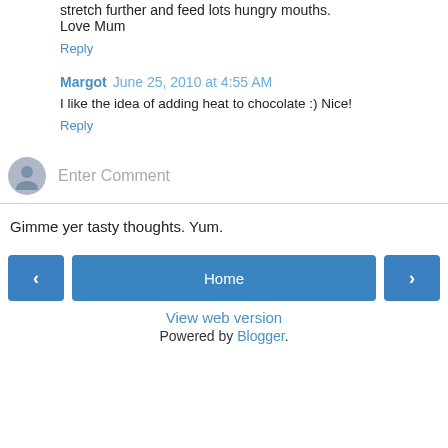stretch further and feed lots hungry mouths.
Love Mum
Reply
Margot  June 25, 2010 at 4:55 AM
I like the idea of adding heat to chocolate :) Nice!
Reply
Enter Comment
Gimme yer tasty thoughts. Yum.
Home
View web version
Powered by Blogger.